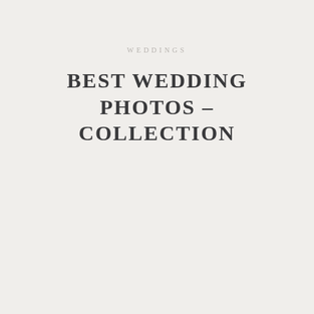WEDDINGS
BEST WEDDING PHOTOS – COLLECTION